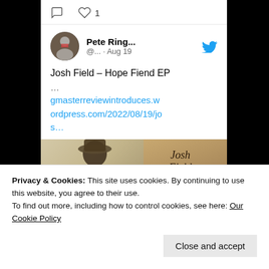[Figure (screenshot): Twitter/social media tweet card showing a tweet by Pete Ring... (@... · Aug 19) about Josh Field – Hope Fiend EP with a link to gmasterreviewintroduces.wordpress.com/2022/08/19/jos... and an image of an album cover showing a guitarist playing guitar with text 'Josh Field HOPE FIEND EP']
Privacy & Cookies: This site uses cookies. By continuing to use this website, you agree to their use.
To find out more, including how to control cookies, see here: Our Cookie Policy
Close and accept